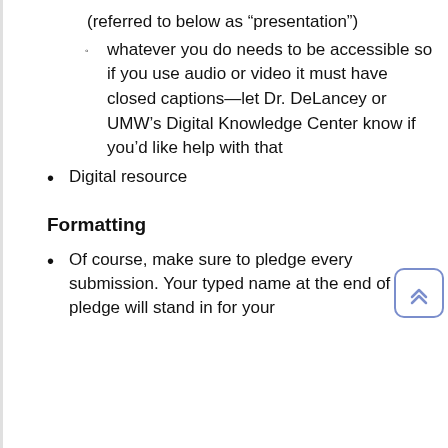(referred to below as “presentation”)
whatever you do needs to be accessible so if you use audio or video it must have closed captions—let Dr. DeLancey or UMW’s Digital Knowledge Center know if you’d like help with that
Digital resource
Formatting
Of course, make sure to pledge every submission. Your typed name at the end of the pledge will stand in for your